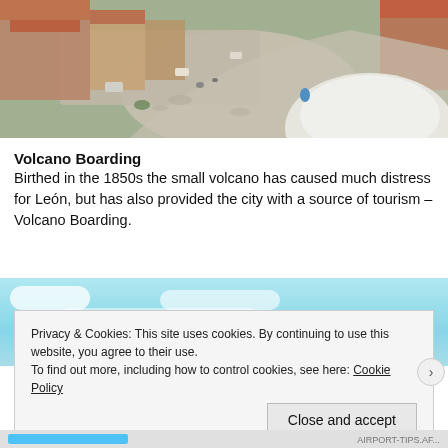[Figure (photo): Aerial view of a city street with colonial buildings, red-tiled roofs, vehicles on road, and a large white dome structure visible in the lower right corner.]
Volcano Boarding
Birthed in the 1850s the small volcano has caused much distress for León, but has also provided the city with a source of tourism – Volcano Boarding.
[Figure (map): Partial map view with light blue sky/cloud background, partially obscured by cookie consent banner.]
Privacy & Cookies: This site uses cookies. By continuing to use this website, you agree to their use.
To find out more, including how to control cookies, see here: Cookie Policy
Close and accept